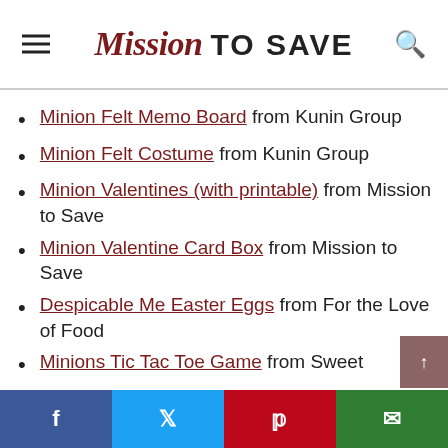Mission to Save
Minion Felt Memo Board from Kunin Group
Minion Felt Costume from Kunin Group
Minion Valentines (with printable) from Mission to Save
Minion Valentine Card Box from Mission to Save
Despicable Me Easter Eggs from For the Love of Food
Minions Tic Tac Toe Game from Sweet